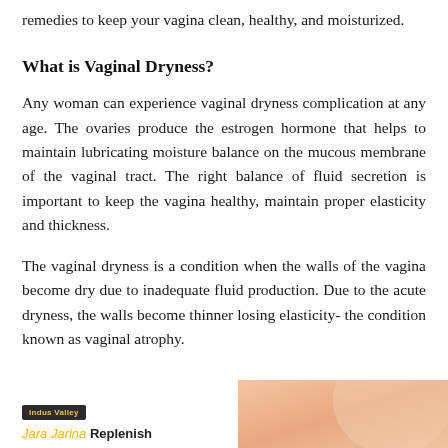remedies to keep your vagina clean, healthy, and moisturized.
What is Vaginal Dryness?
Any woman can experience vaginal dryness complication at any age. The ovaries produce the estrogen hormone that helps to maintain lubricating moisture balance on the mucous membrane of the vaginal tract. The right balance of fluid secretion is important to keep the vagina healthy, maintain proper elasticity and thickness.
The vaginal dryness is a condition when the walls of the vagina become dry due to inadequate fluid production. Due to the acute dryness, the walls become thinner losing elasticity- the condition known as vaginal atrophy.
[Figure (logo): Indus Valley logo badge and partial product name text at bottom of page]
[Figure (photo): Partial photo of a woman's body/skin visible at bottom right of page]